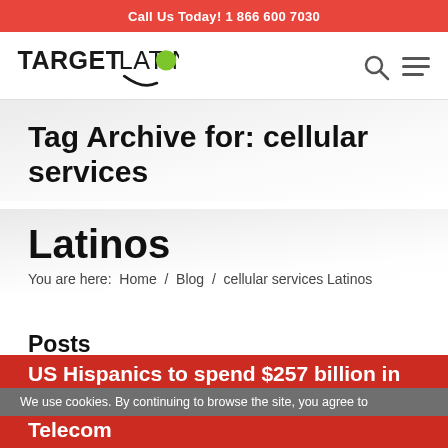Call Us Today! 1 866 600 7030
[Figure (logo): Target Latino logo with green dot on letter O and swoosh graphic]
Tag Archive for: cellular services
Latinos
You are here:  Home  /  Blog  /  cellular services Latinos
Posts
US Hispanics to spend $257 billion in Telecom
We use cookies. By continuing to browse the site, you agree to